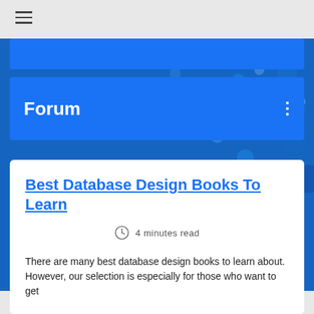☰
Forum
Best Database Design Books To Learn
4 minutes read
There are many best database design books to learn about. However, our selection is especially for those who want to get